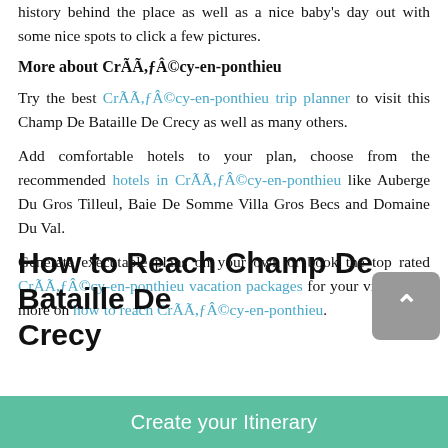history behind the place as well as a nice baby's day out with some nice spots to click a few pictures.
More about CrÃÃ,ƒÂ©cy-en-ponthieu
Try the best CrÃÃ,ƒÂ©cy-en-ponthieu trip planner to visit this Champ De Bataille De Crecy as well as many others.
Add comfortable hotels to your plan, choose from the recommended hotels in CrÃÃ,ƒÂ©cy-en-ponthieu like Auberge Du Gros Tilleul, Baie De Somme Villa Gros Becs and Domaine Du Val.
Generate executable plans on your own or book the top rated CrÃÃ,ƒÂ©cy-en-ponthieu vacation packages for your visit. Read more on how to reach CrÃÃ,ƒÂ©cy-en-ponthieu.
How to Reach Champ De Bataille De Crecy
Create your Itinerary